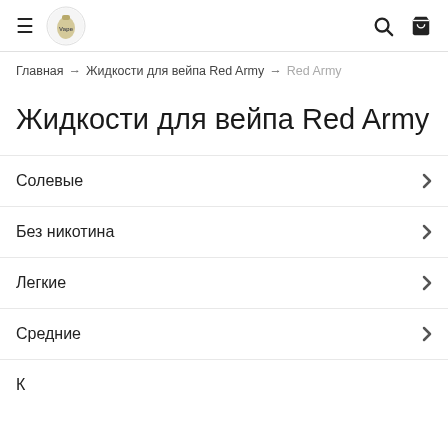≡  [Vape logo]  🔍  🛒
Главная → Жидкости для вейпа Red Army → Red Army
Жидкости для вейпа Red Army
Солевые
Без никотина
Легкие
Средние
К…